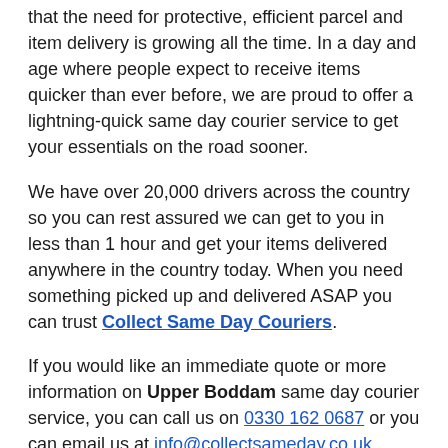that the need for protective, efficient parcel and item delivery is growing all the time. In a day and age where people expect to receive items quicker than ever before, we are proud to offer a lightning-quick same day courier service to get your essentials on the road sooner.
We have over 20,000 drivers across the country so you can rest assured we can get to you in less than 1 hour and get your items delivered anywhere in the country today. When you need something picked up and delivered ASAP you can trust Collect Same Day Couriers.
If you would like an immediate quote or more information on Upper Boddam same day courier service, you can call us on 0330 162 0687 or you can email us at info@collectsameday.co.uk. Alternatively you can complete the quote form.